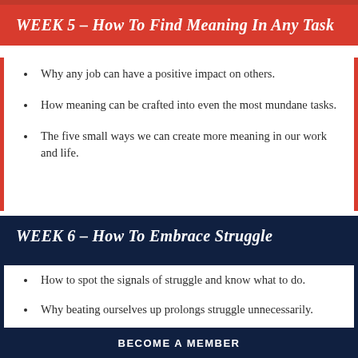WEEK 5 – How To Find Meaning In Any Task
Why any job can have a positive impact on others.
How meaning can be crafted into even the most mundane tasks.
The five small ways we can create more meaning in our work and life.
WEEK 6 – How To Embrace Struggle
How to spot the signals of struggle and know what to do.
Why beating ourselves up prolongs struggle unnecessarily.
BECOME A MEMBER